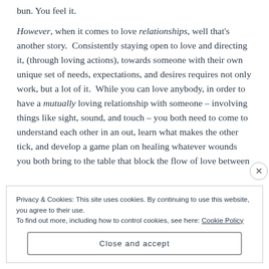bun. You feel it. However, when it comes to love relationships, well that's another story. Consistently staying open to love and directing it, (through loving actions), towards someone with their own unique set of needs, expectations, and desires requires not only work, but a lot of it. While you can love anybody, in order to have a mutually loving relationship with someone – involving things like sight, sound, and touch – you both need to come to understand each other in an out, learn what makes the other tick, and develop a game plan on healing whatever wounds you both bring to the table that block the flow of love between
Privacy & Cookies: This site uses cookies. By continuing to use this website, you agree to their use. To find out more, including how to control cookies, see here: Cookie Policy
Close and accept